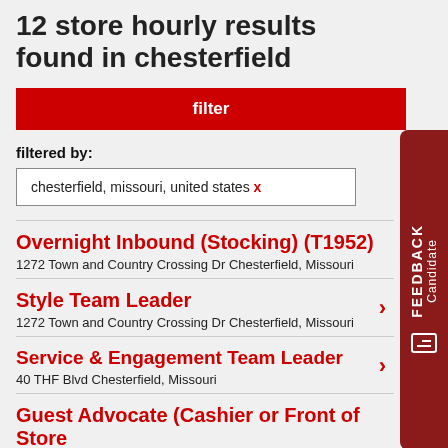12 store hourly results found in chesterfield
filter
filtered by:
chesterfield, missouri, united states x
Overnight Inbound (Stocking) (T1952)
1272 Town and Country Crossing Dr Chesterfield, Missouri
Style Team Leader
1272 Town and Country Crossing Dr Chesterfield, Missouri
Service & Engagement Team Leader
40 THF Blvd Chesterfield, Missouri
Guest Advocate (Cashier or Front of Store…